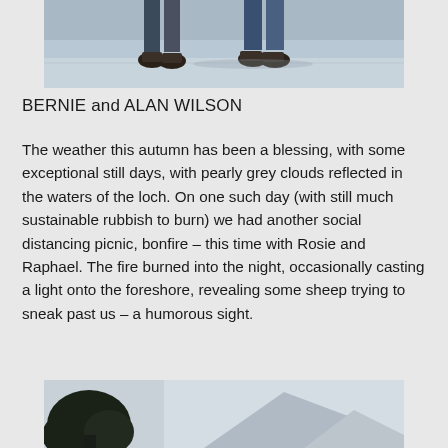[Figure (photo): Bottom of two people's legs and feet standing on a pale grey surface, likely frozen loch or beach]
BERNIE and ALAN WILSON
The weather this autumn has been a blessing, with some exceptional still days, with pearly grey clouds reflected in the waters of the loch. On one such day (with still much sustainable rubbish to burn) we had another social distancing picnic, bonfire – this time with Rosie and Raphael. The fire burned into the night, occasionally casting a light onto the foreshore, revealing some sheep trying to sneak past us – a humorous sight.
[Figure (photo): Outdoor landscape photo showing dark tree silhouette on left and mountain/hill in background under pale sky]